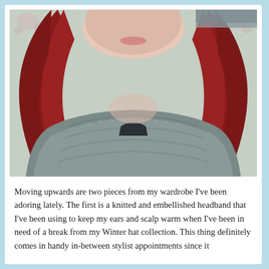[Figure (photo): A young woman with long red/dark-red hair wearing a chunky knitted grey cowl scarf/sweater. She is photographed from the shoulders up, slightly looking to the side. Background appears to be a floral wallpaper.]
Moving upwards are two pieces from my wardrobe I've been adoring lately. The first is a knitted and embellished headband that I've been using to keep my ears and scalp warm when I've been in need of a break from my Winter hat collection. This thing definitely comes in handy in-between stylist appointments since it